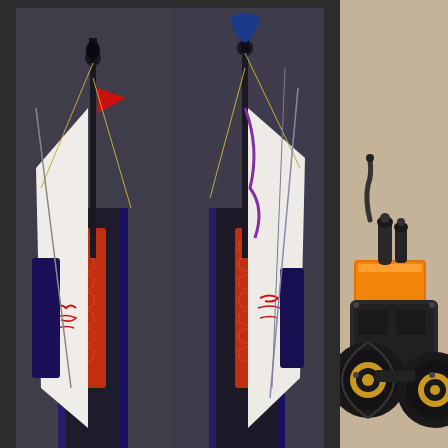[Figure (photo): Two side-by-side views of a tabletop miniature called 'Soul Cage with Slave 3' — a dark fantasy sailing vessel model with purple and blue paint, red honeycomb panels, white sails with red script, figures, and green foliage base. Left view is front-left angle, right view is front-right angle.]
Soul Cage with Slave 3 by Mothsniper
Paintjob: New   Coolness: New
Views: 569   Votes: 3
[Figure (photo): Partial view of a tabletop miniature vehicle — orange/yellow armored cab with large black wheels, steampunk style, on a tan/beige background.]
Medi...
Paintjob: New
Views: 810